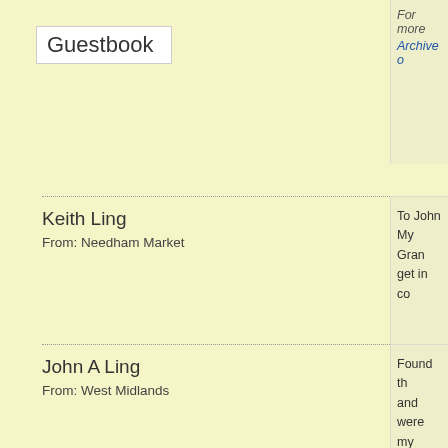Guestbook
For more
Archive o
Keith Ling
From: Needham Market
To John  My Gran  get in co
John A Ling
From: West Midlands
Found th and were my Moth Eliza Lin Wandsw am relate but it tak will defin and am a